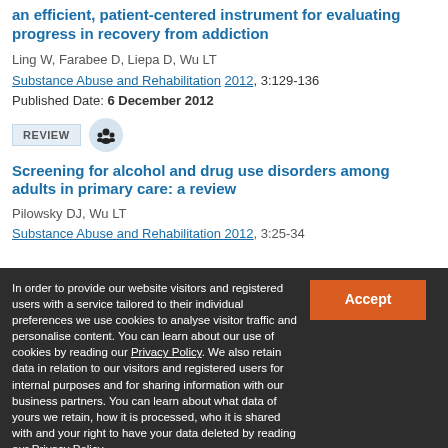an efficient, patient-centered instrument for evaluating progress in recovery from addiction
Ling W, Farabee D, Liepa D, Wu LT
Substance Abuse and Rehabilitation 2012, 3:129-136
Published Date: 6 December 2012
[Figure (other): REVIEW badge and group icon]
Screening for alcohol and drug use disorders among adults in primary care: a review
Pilowsky DJ, Wu LT
Substance Abuse and Rehabilitation 2012, 3:25-34
In order to provide our website visitors and registered users with a service tailored to their individual preferences we use cookies to analyse visitor traffic and personalise content. You can learn about our use of cookies by reading our Privacy Policy. We also retain data in relation to our visitors and registered users for internal purposes and for sharing information with our business partners. You can learn about what data of yours we retain, how it is processed, who it is shared with and your right to have your data deleted by reading our Privacy Policy. If you agree to our use of cookies and the contents of our Privacy Policy please click 'accept'.